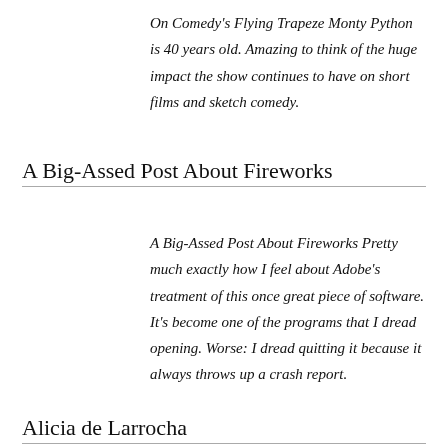On Comedy's Flying Trapeze Monty Python is 40 years old. Amazing to think of the huge impact the show continues to have on short films and sketch comedy.
A Big-Assed Post About Fireworks
A Big-Assed Post About Fireworks Pretty much exactly how I feel about Adobe's treatment of this once great piece of software. It's become one of the programs that I dread opening. Worse: I dread quitting it because it always throws up a crash report.
Alicia de Larrocha